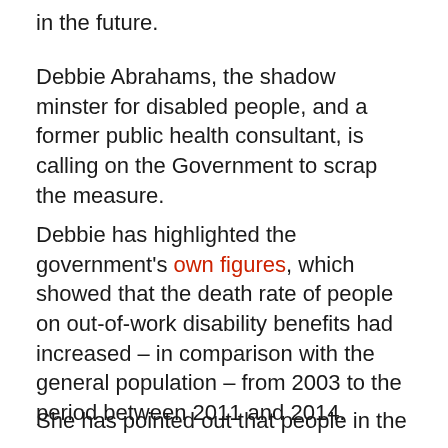in the future.
Debbie Abrahams, the shadow minster for disabled people, and a former public health consultant, is calling on the Government to scrap the measure.
Debbie has highlighted the government's own figures, which showed that the death rate of people on out-of-work disability benefits had increased – in comparison with the general population – from 2003 to the period between 2011 and 2014.
She has pointed out that people in the